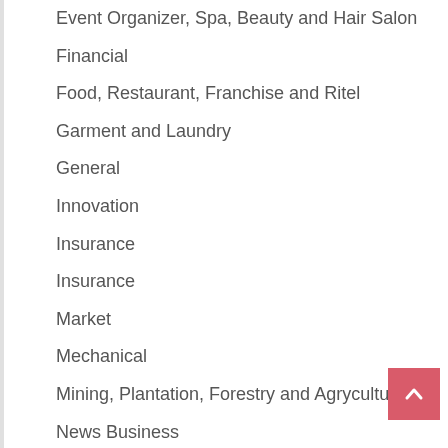Event Organizer, Spa, Beauty and Hair Salon
Financial
Food, Restaurant, Franchise and Ritel
Garment and Laundry
General
Innovation
Insurance
Insurance
Market
Mechanical
Mining, Plantation, Forestry and Agryculture
News Business
Pharmaceuticals
Pharmaceuticals
Property, Construction, Furniture and Electronik